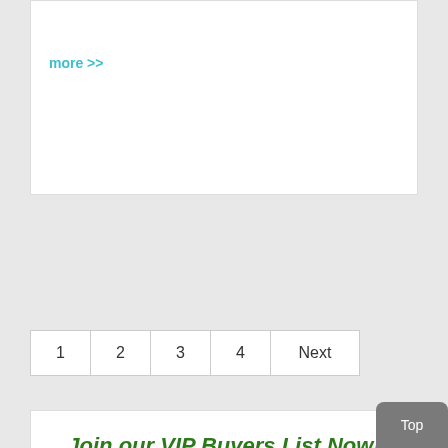more >>
1  2  3  4  Next
Join our VIP Buyers List Now!
Enter your information below and we will send you our FREE report on how to find your dream home at a rock bottom price!
Enter First Name
Enter Last Name